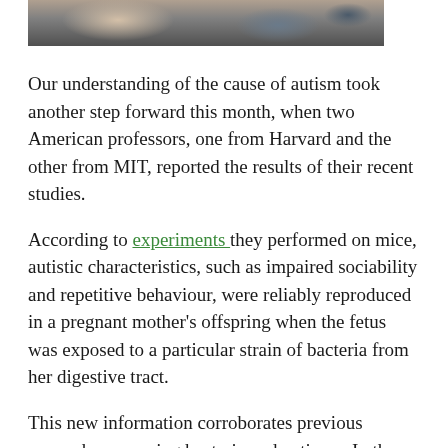[Figure (photo): Partial photograph showing people, cropped at top of page]
Our understanding of the cause of autism took another step forward this month, when two American professors, one from Harvard and the other from MIT, reported the results of their recent studies.
According to experiments they performed on mice, autistic characteristics, such as impaired sociability and repetitive behaviour, were reliably reproduced in a pregnant mother's offspring when the fetus was exposed to a particular strain of bacteria from her digestive tract.
This new information corroborates previous research concerning bacteria and autism.  In those studies, it was found that women who gave birth to an autistic child were more likely to have suffered  a bacterial infection during pregnancy. Commonplace infections such as influenza, urinary tract infections, or viral gastroenteritis, were implicated.